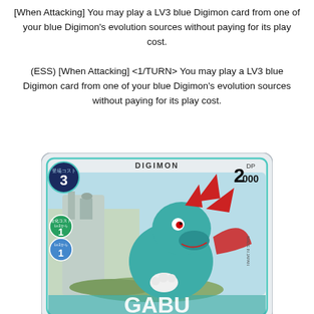[When Attacking] You may play a LV3 blue Digimon card from one of your blue Digimon's evolution sources without paying for its play cost.
(ESS) [When Attacking] <1/TURN> You may play a LV3 blue Digimon card from one of your blue Digimon's evolution sources without paying for its play cost.
[Figure (illustration): Digimon trading card featuring a teal dragon-like Digimon (Gabumon or similar) with red fins/ribbons, showing a play cost of 3, DP 2000, evolution costs from Lv.2 of 1 each, labeled DIGIMON, MADE IN JAPAN. The card art shows the Digimon in an action pose with a mechanical/city background.]